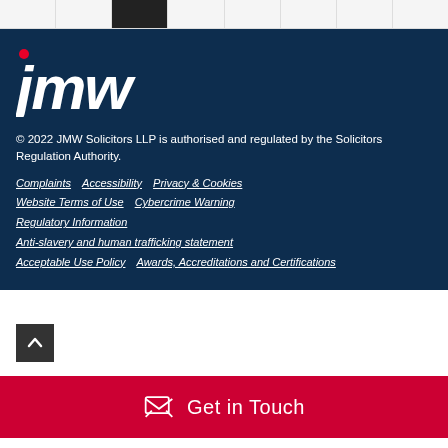[Figure (other): Top navigation strip with multiple cells, one highlighted in dark/black (2012 or similar label)]
[Figure (logo): JMW Solicitors LLP logo — lowercase 'jmw' in white bold italic with red dot above the 'j']
© 2022 JMW Solicitors LLP is authorised and regulated by the Solicitors Regulation Authority.
Complaints · Accessibility · Privacy & Cookies · Website Terms of Use · Cybercrime Warning · Regulatory Information · Anti-slavery and human trafficking statement · Acceptable Use Policy · Awards, Accreditations and Certifications
[Figure (other): Back to top button — dark square with white upward chevron arrow]
Get in Touch